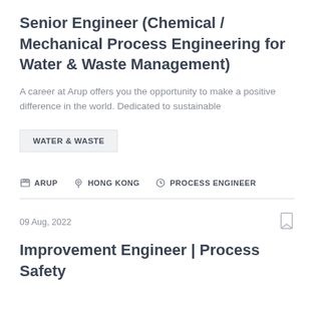Senior Engineer (Chemical / Mechanical Process Engineering for Water & Waste Management)
A career at Arup offers you the opportunity to make a positive difference in the world. Dedicated to sustainable
WATER & WASTE
ARUP  HONG KONG  PROCESS ENGINEER
09 Aug, 2022
Improvement Engineer | Process Safety